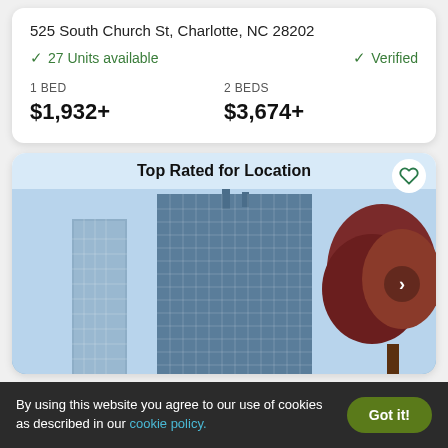525 South Church St, Charlotte, NC 28202
✓ 27 Units available   ✓ Verified
1 BED
$1,932+
2 BEDS
$3,674+
Top Rated for Location
[Figure (photo): Exterior photo of a tall modern glass skyscraper in Charlotte, NC against a blue sky with trees in the foreground]
By using this website you agree to our use of cookies as described in our cookie policy.